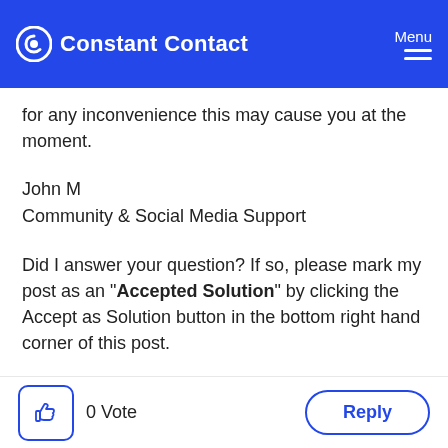Constant Contact | Menu
for any inconvenience this may cause you at the moment.
John M
Community & Social Media Support
Did I answer your question? If so, please mark my post as an "Accepted Solution" by clicking the Accept as Solution button in the bottom right hand corner of this post.
0 Vote
Reply